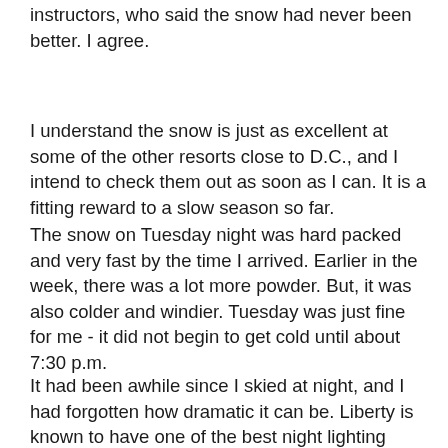instructors, who said the snow had never been better. I agree.
I understand the snow is just as excellent at some of the other resorts close to D.C., and I intend to check them out as soon as I can. It is a fitting reward to a slow season so far.
The snow on Tuesday night was hard packed and very fast by the time I arrived. Earlier in the week, there was a lot more powder. But, it was also colder and windier. Tuesday was just fine for me - it did not begin to get cold until about 7:30 p.m.
It had been awhile since I skied at night, and I had forgotten how dramatic it can be. Liberty is known to have one of the best night lighting systems around, and it is justified in its reputation. I had absolutely no trouble seeing; it was better than the flat light you tend to get at dusk.